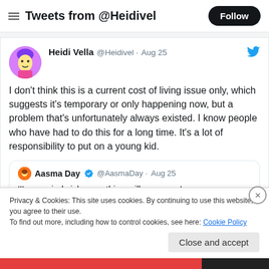Tweets from @Heidivel
Heidi Vella @Heidivel · Aug 25
I don't think this is a current cost of living issue only, which suggests it's temporary or only happening now, but a problem that's unfortunately always existed. I know people who have had to do this for a long time. It's a lot of responsibility to put on a young kid.
Aasma Day @AasmaDay · Aug 25
'I'm worried sick something will go wrong'
Privacy & Cookies: This site uses cookies. By continuing to use this website, you agree to their use.
To find out more, including how to control cookies, see here: Cookie Policy